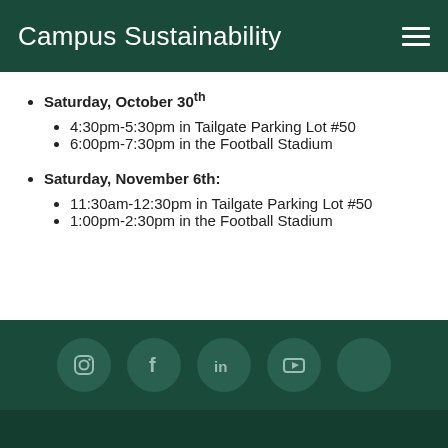Campus Sustainability
Saturday, October 30th
4:30pm-5:30pm in Tailgate Parking Lot #50
6:00pm-7:30pm in the Football Stadium
Saturday, November 6th:
11:30am-12:30pm in Tailgate Parking Lot #50
1:00pm-2:30pm in the Football Stadium
[Figure (infographic): Social media icons row: Instagram, Facebook, LinkedIn, YouTube, and one additional icon in circular dark green buttons on dark green footer background.]